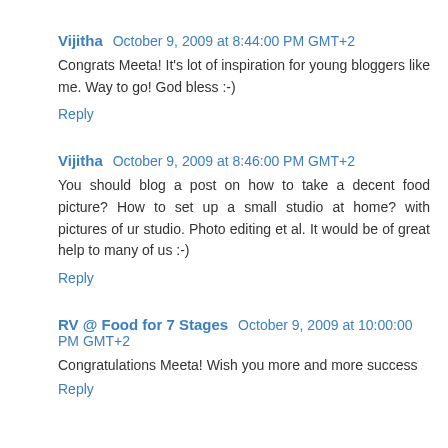Vijitha  October 9, 2009 at 8:44:00 PM GMT+2
Congrats Meeta! It's lot of inspiration for young bloggers like me. Way to go! God bless :-)
Reply
Vijitha  October 9, 2009 at 8:46:00 PM GMT+2
You should blog a post on how to take a decent food picture? How to set up a small studio at home? with pictures of ur studio. Photo editing et al. It would be of great help to many of us :-)
Reply
RV @ Food for 7 Stages  October 9, 2009 at 10:00:00 PM GMT+2
Congratulations Meeta! Wish you more and more success
Reply